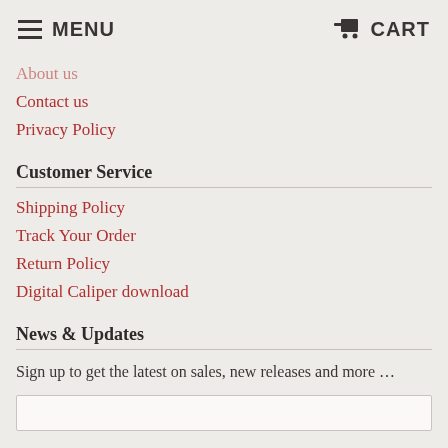MENU   CART
About us
Contact us
Privacy Policy
Customer Service
Shipping Policy
Track Your Order
Return Policy
Digital Caliper download
News & Updates
Sign up to get the latest on sales, new releases and more …